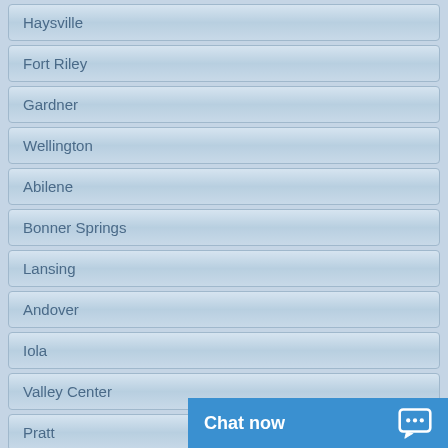Haysville
Fort Riley
Gardner
Wellington
Abilene
Bonner Springs
Lansing
Andover
Iola
Valley Center
Pratt
Ulysses
Mulvane
Chat now